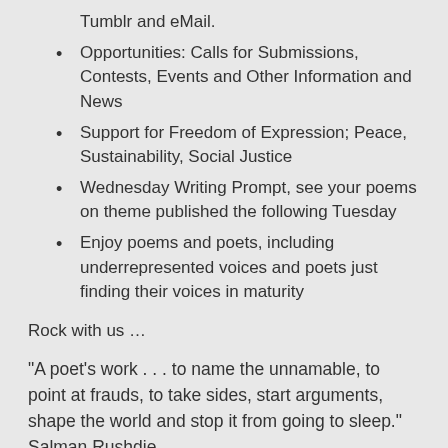Tumblr and eMail.
Opportunities: Calls for Submissions, Contests, Events and Other Information and News
Support for Freedom of Expression; Peace, Sustainability, Social Justice
Wednesday Writing Prompt, see your poems on theme published the following Tuesday
Enjoy poems and poets, including underrepresented voices and poets just finding their voices in maturity
Rock with us …
“A poet’s work . . . to name the unnamable, to point at frauds, to take sides, start arguments, shape the world and stop it from going to sleep.”  Salman Rushdie